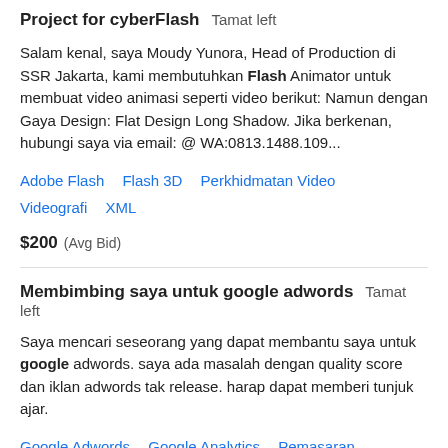Project for cyberFlash  Tamat left
Salam kenal, saya Moudy Yunora, Head of Production di SSR Jakarta, kami membutuhkan Flash Animator untuk membuat video animasi seperti video berikut: Namun dengan Gaya Design: Flat Design Long Shadow. Jika berkenan, hubungi saya via email: @ WA:0813.1488.109...
Adobe Flash
Flash 3D
Perkhidmatan Video
Videografi
XML
$200  (Avg Bid)
Membimbing saya untuk google adwords  Tamat left
Saya mencari seseorang yang dapat membantu saya untuk google adwords. saya ada masalah dengan quality score dan iklan adwords tak release. harap dapat memberi tunjuk ajar.
Google Adwords
Google Analytics
Pemasaran Internet
Pemasaran
SEO